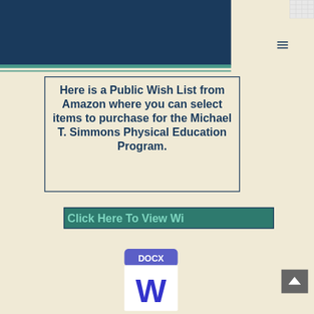[Figure (screenshot): Website header with dark navy blue banner, teal stripe, hamburger menu icon, and spreadsheet thumbnail in top right corner]
Here is a Public Wish List from Amazon where you can select items to purchase for the Michael T. Simmons Physical Education Program.
[Figure (screenshot): Green button with text 'Click Here To View Wi' (truncated wish list link)]
[Figure (screenshot): DOCX file icon showing Microsoft Word document icon with blue W and DOCX label, and a back-to-top button in grey]